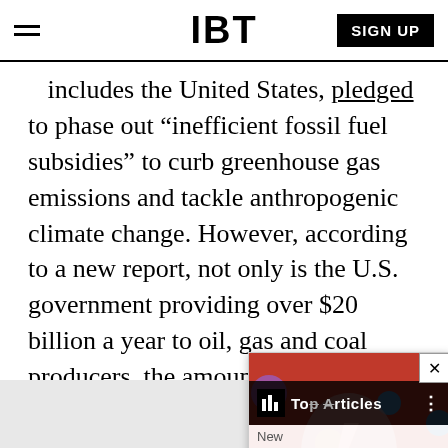IBT | SIGN UP
includes the United States, pledged to phase out “inefficient fossil fuel subsidies” to curb greenhouse gas emissions and tackle anthropogenic climate change. However, according to a new report, not only is the U.S. government providing over $20 billion a year to oil, gas and coal producers, the amount has increased by 35 percent since President Barack Oba…
[Figure (screenshot): A popup overlay showing an IBT Top Articles widget with a colorful image (David Bowie-like face with glitter) and a 'New' label with an input bar below. A close (X) button appears in the top-right corner.]